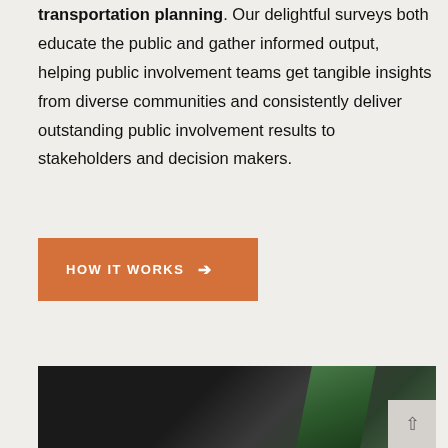transportation planning. Our delightful surveys both educate the public and gather informed output, helping public involvement teams get tangible insights from diverse communities and consistently deliver outstanding public involvement results to stakeholders and decision makers.
[Figure (other): Orange button with white bold uppercase text 'HOW IT WORKS' and a right-pointing arrow]
[Figure (photo): Partial photograph showing a person in dark clothing with green foliage in the background, partially cropped at the bottom of the page]